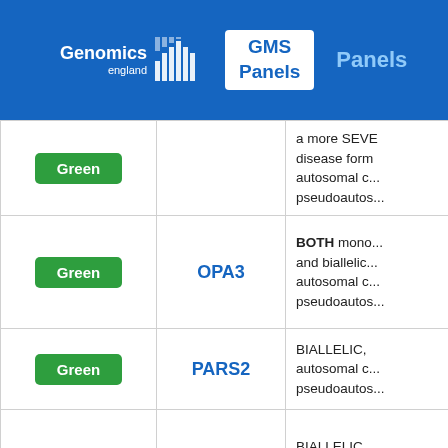Genomics England | GMS Panels | Panels
| Rating | Gene | Description |
| --- | --- | --- |
| Green |  | a more SEVE... disease form... autosomal c... pseudoautos... |
| Green | OPA3 | BOTH mono... and biallelic... autosomal c... pseudoautos... |
| Green | PARS2 | BIALLELIC, ... autosomal c... pseudoautos... |
| Green | PC | BIALLELIC, ... autosomal c... pseudoautos... |